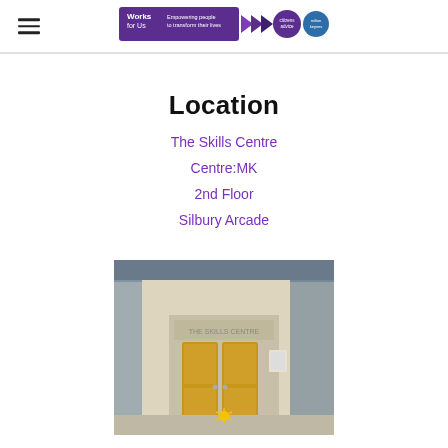Works for Us — Empowering people to transform their lives [logo/header bar with hamburger menu and partner logos]
Location
The Skills Centre
Centre:MK
2nd Floor
Silbury Arcade
[Figure (photo): Photograph of The Skills Centre entrance — a modern building with wooden double doors, stone/concrete facade and glass panels at Centre:MK, Silbury Arcade]
[Figure (logo): Partial logo visible at bottom of page]